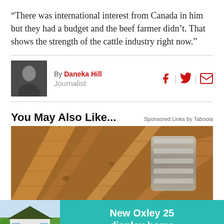“There was international interest from Canada in him but they had a budget and the beef farmer didn’t. That shows the strength of the cattle industry right now.”
By Daneka Hill
Journalist
You May Also Like...
Sponsored Links by Taboola
[Figure (photo): Photo showing underside of wooden roof structure with timber beams and insulated ducts]
[Figure (photo): Advertisement banner showing a house photo and teal background with text: New Oxley 25 display home]
Advertisement